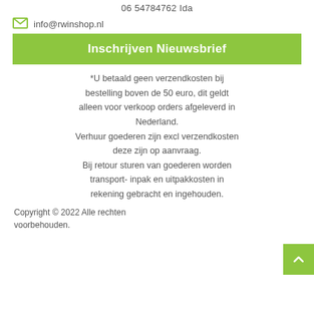06 54784762 Ida
info@rwinshop.nl
Inschrijven Nieuwsbrief
*U betaald geen verzendkosten bij bestelling boven de 50 euro, dit geldt alleen voor verkoop orders afgeleverd in Nederland.
Verhuur goederen zijn excl verzendkosten deze zijn op aanvraag.
Bij retour sturen van goederen worden transport- inpak en uitpakkosten in rekening gebracht en ingehouden.
Copyright © 2022 Alle rechten voorbehouden.